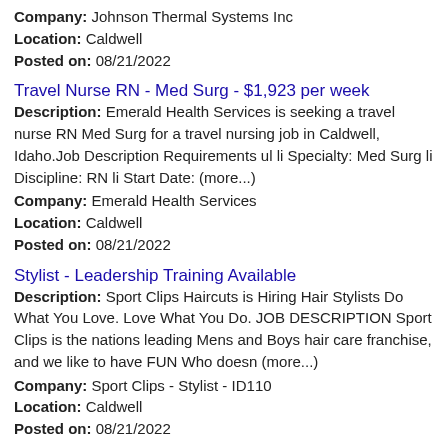Company: Johnson Thermal Systems Inc
Location: Caldwell
Posted on: 08/21/2022
Travel Nurse RN - Med Surg - $1,923 per week
Description: Emerald Health Services is seeking a travel nurse RN Med Surg for a travel nursing job in Caldwell, Idaho.Job Description Requirements ul li Specialty: Med Surg li Discipline: RN li Start Date: (more...)
Company: Emerald Health Services
Location: Caldwell
Posted on: 08/21/2022
Stylist - Leadership Training Available
Description: Sport Clips Haircuts is Hiring Hair Stylists Do What You Love. Love What You Do. JOB DESCRIPTION Sport Clips is the nations leading Mens and Boys hair care franchise, and we like to have FUN Who doesn (more...)
Company: Sport Clips - Stylist - ID110
Location: Caldwell
Posted on: 08/21/2022
Salary in Boise, Idaho Area | More details for Boise, Idaho Jobs |Salary